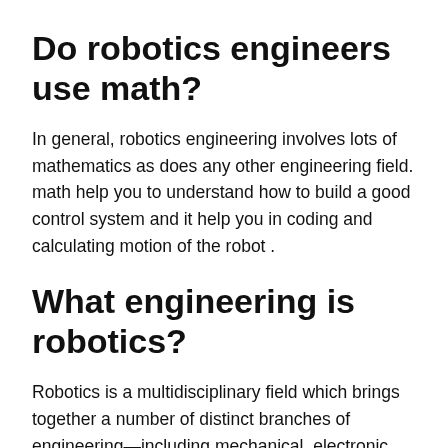Do robotics engineers use math?
In general, robotics engineering involves lots of mathematics as does any other engineering field. math help you to understand how to build a good control system and it help you in coding and calculating motion of the robot .
What engineering is robotics?
Robotics is a multidisciplinary field which brings together a number of distinct branches of engineering—including mechanical, electronic, computer, and